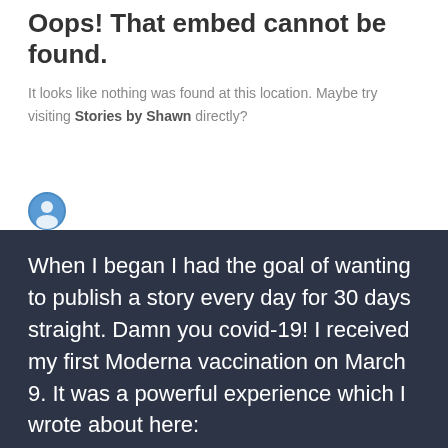Oops! That embed cannot be found.
It looks like nothing was found at this location. Maybe try visiting Stories by Shawn directly?
When I began I had the goal of wanting to publish a story every day for 30 days straight. Damn you covid-19! I received my first Moderna vaccination on March 9. It was a powerful experience which I wrote about here: